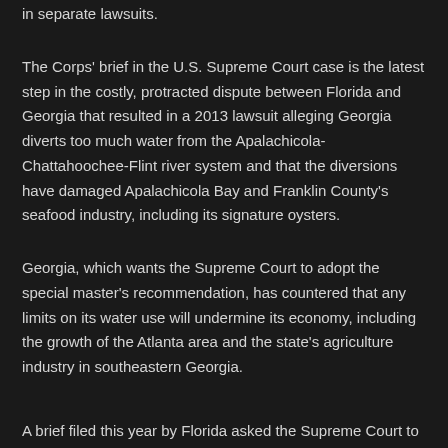in separate lawsuits.
The Corps' brief in the U.S. Supreme Court case is the latest step in the costly, protracted dispute between Florida and Georgia that resulted in a 2013 lawsuit alleging Georgia diverts too much water from the Apalachicola-Chattahoochee-Flint river system and that the diversions have damaged Apalachicola Bay and Franklin County's seafood industry, including its signature oysters.
Georgia, which wants the Supreme Court to adopt the special master's recommendation, has countered that any limits on its water use will undermine its economy, including the growth of the Atlanta area and the state's agriculture industry in southeastern Georgia.
A brief filed this year by Florida asked the Supreme Court to...